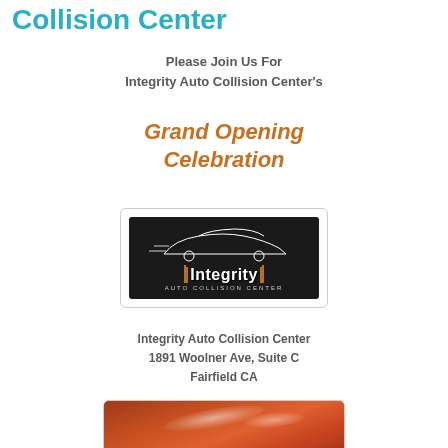Collision Center
Please Join Us For
Integrity Auto Collision Center's
Grand Opening
Celebration
[Figure (logo): Integrity Auto Collision Center logo: dark background with white car silhouette outline and 'Integrity' text in white with brown vertical borders, 'AUTO COLLISION CENTER' in small caps below]
Integrity Auto Collision Center
1891 Woolner Ave, Suite C
Fairfield CA
[Figure (photo): Photo of a red/orange car hood or body panel with reflective highlights, partially visible]